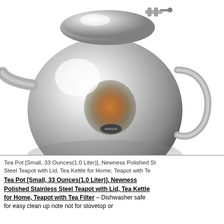[Figure (photo): A shiny polished stainless steel teapot (globe-shaped body) photographed from above and side angle, showing the lid with hinge mechanism, the body with a Newness brand medallion, and partial view of the spout. The teapot has a mirror-like finish reflecting the photographer.]
Tea Pot [Small, 33 Ounces(1.0 Liter)], Newness Polished St... Steel Teapot with Lid, Tea Kettle for Home, Teapot with Te...
Tea Pot [Small, 33 Ounces(1.0 Liter)], Newness Polished Stainless Steel Teapot with Lid, Tea Kettle for Home, Teapot with Tea Filter – Dishwasher safe for easy clean up note not for stovetop or